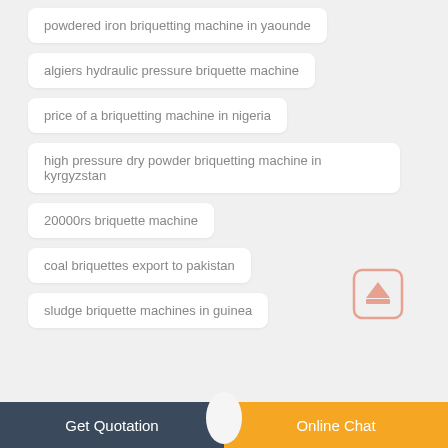powdered iron briquetting machine in yaounde
algiers hydraulic pressure briquette machine
price of a briquetting machine in nigeria
high pressure dry powder briquetting machine in kyrgyzstan
20000rs briquette machine
coal briquettes export to pakistan
sludge briquette machines in guinea
Get Quotation   Online Chat